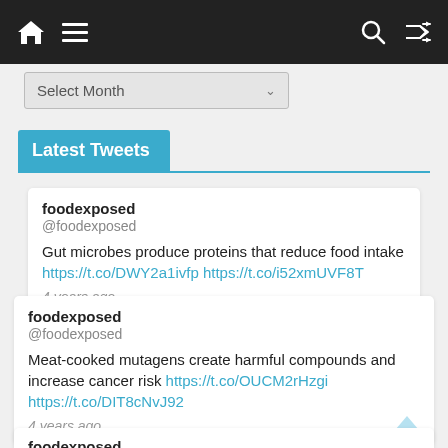Navigation bar with home, menu, search, shuffle icons
Select Month
Latest Tweets
foodexposed @foodexposed
Gut microbes produce proteins that reduce food intake https://t.co/DWY2a1ivfp https://t.co/i52xmUVF8T
4 years ago
foodexposed @foodexposed
Meat-cooked mutagens create harmful compounds and increase cancer risk https://t.co/OUCM2rHzgi https://t.co/DIT8cNvJ92
4 years ago
foodexposed